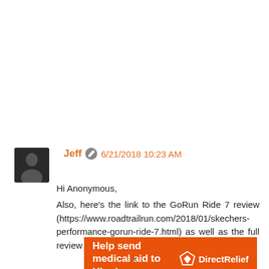Jeff  6/21/2018 10:23 AM
Hi Anonymous,
Also, here's the link to the GoRun Ride 7 review (https://www.roadtrailrun.com/2018/01/skechers-performance-gorun-ride-7.html) as well as the full review of the
[Figure (infographic): Orange advertisement banner: 'Help send medical aid to Ukraine >>' with Direct Relief logo on the right]
x